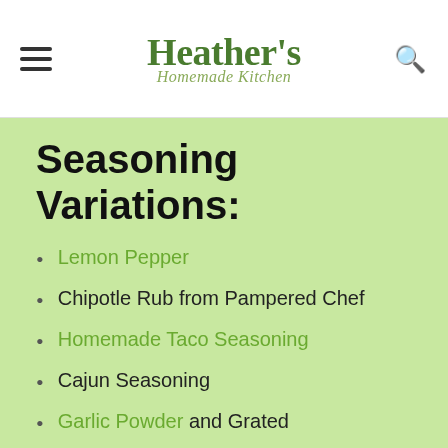Heather's Homemade Kitchen
Seasoning Variations:
Lemon Pepper
Chipotle Rub from Pampered Chef
Homemade Taco Seasoning
Cajun Seasoning
Garlic Powder and Grated